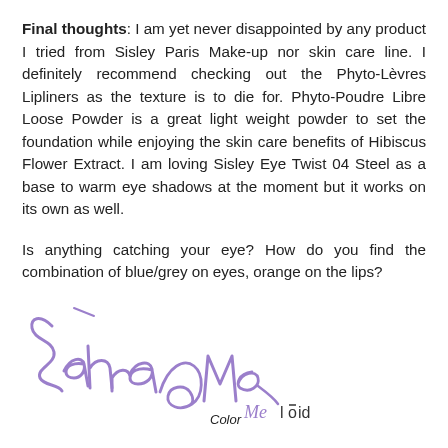Final thoughts: I am yet never disappointed by any product I tried from Sisley Paris Make-up nor skin care line. I definitely recommend checking out the Phyto-Lèvres Lipliners as the texture is to die for. Phyto-Poudre Libre Loose Powder is a great light weight powder to set the foundation while enjoying the skin care benefits of Hibiscus Flower Extract. I am loving Sisley Eye Twist 04 Steel as a base to warm eye shadows at the moment but it works on its own as well.
Is anything catching your eye? How do you find the combination of blue/grey on eyes, orange on the lips?
[Figure (illustration): Handwritten cursive purple/lavender signature reading 'Sahra @ Color Me loud' with a stylized script logo]